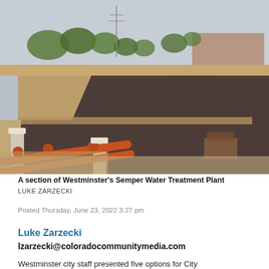[Figure (photo): A section of Westminster's Semper Water Treatment Plant showing large water treatment basins with dark water, orange/rust-colored railings and pipes in the foreground, concrete dividers, and trees and buildings visible in the background under a cloudy sky.]
A section of Westminster's Semper Water Treatment Plant
LUKE ZARZECKI
Posted Thursday, June 23, 2022 3:27 pm
Luke Zarzecki
lzarzecki@coloradocommunitymedia.com
Westminster city staff presented five options for City Councilors to repair or replace the Semper Water Treatment